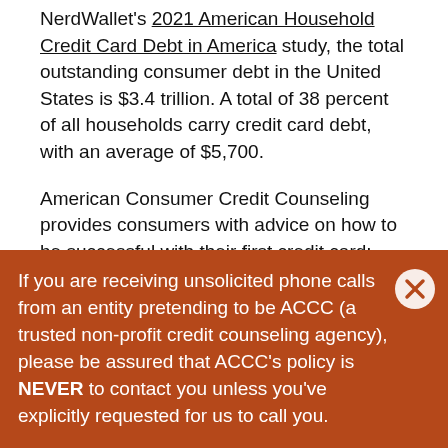NerdWallet's 2021 American Household Credit Card Debt in America study, the total outstanding consumer debt in the United States is $3.4 trillion. A total of 38 percent of all households carry credit card debt, with an average of $5,700.
American Consumer Credit Counseling provides consumers with advice on how to be successful with their first credit card:
1. What is it? Although a credit card looks like a debit card, it is much different. Using a credit card to make a
If you are receiving unsolicited phone calls from an entity pretending to be ACCC (a trusted non-profit credit counseling agency), please be assured that ACCC's policy is NEVER to contact you unless you've explicitly requested for us to call you.